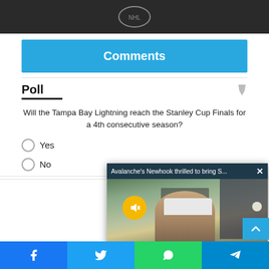[Figure (photo): Dark background image with NHL logo/jersey at the top of the page]
Comments
Poll
Will the Tampa Bay Lightning reach the Stanley Cup Finals for a 4th consecutive season?
Yes
No
[Figure (screenshot): Video popup overlay: Avalanche's Newhook thrilled to bring S... with a video thumbnail showing a person in a cap outdoors, with a mute button overlay]
Facebook | Twitter | WhatsApp | Telegram share buttons